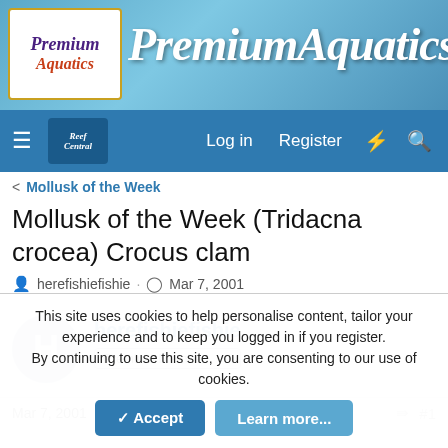PremiumAquatics
Log in  Register
< Mollusk of the Week
Mollusk of the Week (Tridacna crocea) Crocus clam
herefishiefishie · Mar 7, 2001
herefishiefishie
Premium Member
Mar 7, 2001   #1
This site uses cookies to help personalise content, tailor your experience and to keep you logged in if you register.
By continuing to use this site, you are consenting to our use of cookies.